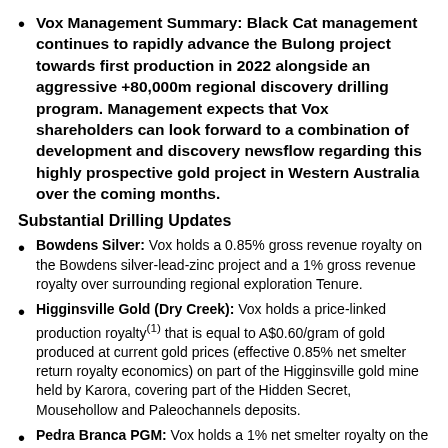Vox Management Summary: Black Cat management continues to rapidly advance the Bulong project towards first production in 2022 alongside an aggressive +80,000m regional discovery drilling program. Management expects that Vox shareholders can look forward to a combination of development and discovery newsflow regarding this highly prospective gold project in Western Australia over the coming months.
Substantial Drilling Updates
Bowdens Silver: Vox holds a 0.85% gross revenue royalty on the Bowdens silver-lead-zinc project and a 1% gross revenue royalty over surrounding regional exploration Tenure.
Higginsville Gold (Dry Creek): Vox holds a price-linked production royalty(1) that is equal to A$0.60/gram of gold produced at current gold prices (effective 0.85% net smelter return royalty economics) on part of the Higginsville gold mine held by Karora, covering part of the Hidden Secret, Mousehollow and Paleochannels deposits.
Pedra Branca PGM: Vox holds a 1% net smelter royalty on the Pedra Branca PGM project.